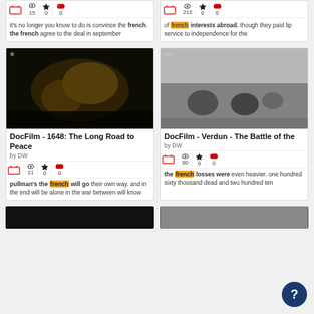[Figure (screenshot): Two video result cards in top row showing stats (15/0/0 and 213/0/0) and text snippets about 'french']
it's no longer you know to do is convince the french. the french agree to the deal in september
of french interests abroad. though they paid lip service to independence for the
[Figure (screenshot): DocFilm - 1648: The Long Road to Peace thumbnail - dark scene with golden lighting]
DocFilm - 1648: The Long Road to Peace
by DW
21 views, 0 stars, 0 quotes
pullman's the french will go their own way. and in the end will be alone in the war between will know
[Figure (screenshot): DocFilm - Verdun - The Battle of the thumbnail - black and white war scene with soldiers crawling]
DocFilm - Verdun - The Battle of the
by DW
80 views, 0 stars, 0 quotes
the french losses were even heavier. one hundred sixty thousand dead and two hundred ten